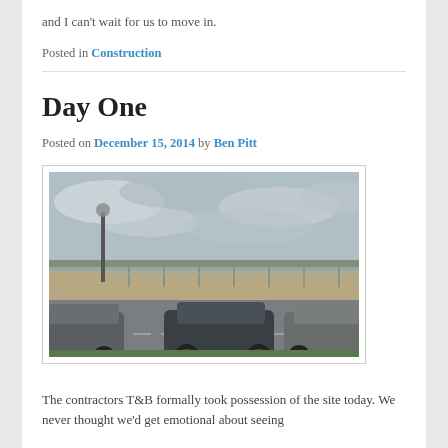and I can't wait for us to move in.
Posted in Construction
Day One
Posted on December 15, 2014 by Ben Pitt
[Figure (photo): A construction site with cleared land behind metal security fencing. Several cars are parked in a car park in the foreground. A lamp post is visible on the left. Overcast sky in the background.]
The contractors T&B formally took possession of the site today. We never thought we'd get emotional about seeing